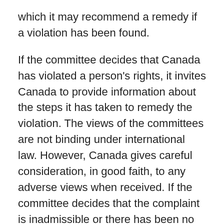which it may recommend a remedy if a violation has been found.
If the committee decides that Canada has violated a person's rights, it invites Canada to provide information about the steps it has taken to remedy the violation. The views of the committees are not binding under international law. However, Canada gives careful consideration, in good faith, to any adverse views when received. If the committee decides that the complaint is inadmissible or there has been no violation, the complaint is closed.